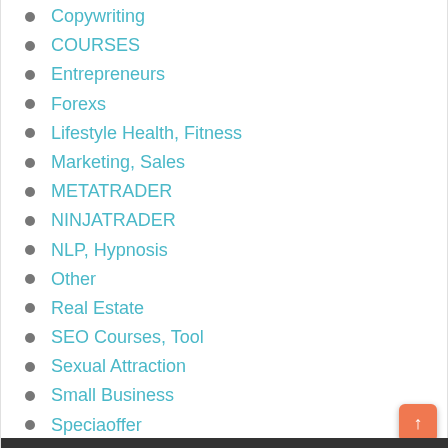Copywriting
COURSES
Entrepreneurs
Forexs
Lifestyle Health, Fitness
Marketing, Sales
METATRADER
NINJATRADER
NLP, Hypnosis
Other
Real Estate
SEO Courses, Tool
Sexual Attraction
Small Business
Speciaoffer
Stocks
TRADESTATION
Tradings